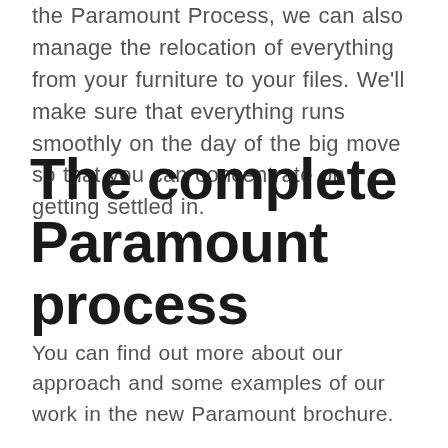the Paramount Process, we can also manage the relocation of everything from your furniture to your files. We'll make sure that everything runs smoothly on the day of the big move so that you can concentrate on getting settled in.
The complete Paramount process
You can find out more about our approach and some examples of our work in the new Paramount brochure.